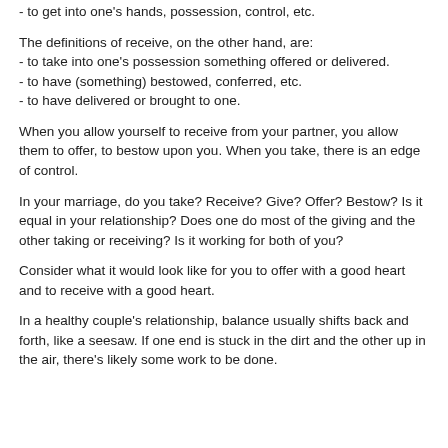- to get into one's hands, possession, control, etc.
The definitions of receive, on the other hand, are:
- to take into one's possession something offered or delivered.
- to have (something) bestowed, conferred, etc.
- to have delivered or brought to one.
When you allow yourself to receive from your partner, you allow them to offer, to bestow upon you. When you take, there is an edge of control.
In your marriage, do you take? Receive? Give? Offer? Bestow? Is it equal in your relationship? Does one do most of the giving and the other taking or receiving? Is it working for both of you?
Consider what it would look like for you to offer with a good heart and to receive with a good heart.
In a healthy couple's relationship, balance usually shifts back and forth, like a seesaw. If one end is stuck in the dirt and the other up in the air, there's likely some work to be done.